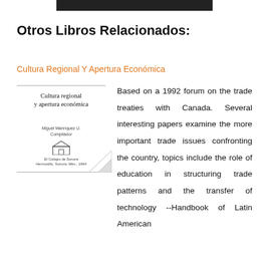Otros Libros Relacionados:
Cultura Regional Y Apertura Económica
[Figure (illustration): Book cover of 'Cultura regional y apertura económica' by Miguel Manríquez U., published by El Colegio de Sonora, Hermosillo, Sonora, México, 1994. Shows title text and a small house/building icon, with decorative page-corner fold at bottom right.]
Based on a 1992 forum on the trade treaties with Canada. Several interesting papers examine the more important trade issues confronting the country, topics include the role of education in structuring trade patterns and the transfer of technology --Handbook of Latin American